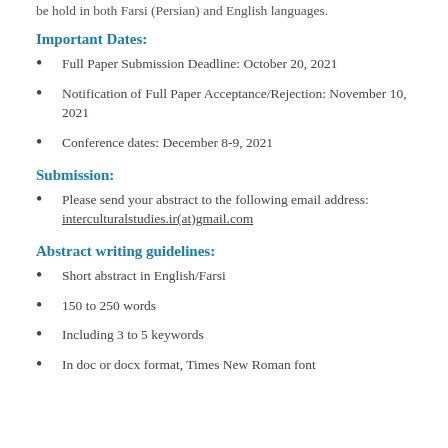be hold in both Farsi (Persian) and English languages.
Important Dates:
Full Paper Submission Deadline: October 20, 2021
Notification of Full Paper Acceptance/Rejection: November 10, 2021
Conference dates: December 8-9, 2021
Submission:
Please send your abstract to the following email address: interculturalstudies.ir(at)gmail.com
Abstract writing guidelines:
Short abstract in English/Farsi
150 to 250 words
Including 3 to 5 keywords
In doc or docx format, Times New Roman font